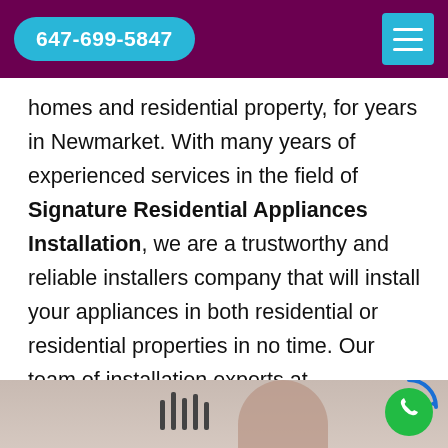647-699-5847
homes and residential property, for years in Newmarket. With many years of experienced services in the field of Signature Residential Appliances Installation, we are a trustworthy and reliable installers company that will install your appliances in both residential or residential properties in no time. Our team of installation experts at Newmarket Appliances Repair is in charge of installing your appliances. For the best residential appliance installation in your home, call us any time of the day.
[Figure (photo): Bottom strip showing a partial photo of a person (appliance technician) with vertical dark bars visible, likely in a kitchen setting]